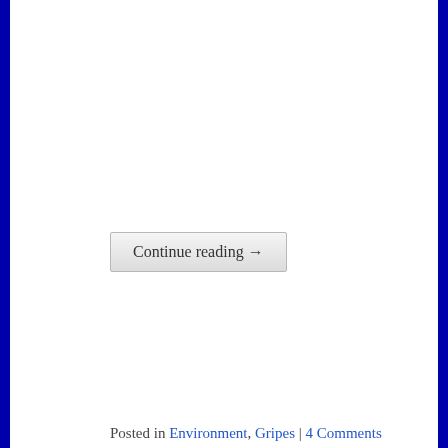Continue reading →
Posted in Environment, Gripes | 4 Comments
Privacy & Cookies: This site uses cookies. By continuing to use this website, you agree to their use.
To find out more, including how to control cookies, see here: Cookie Policy
Close and accept